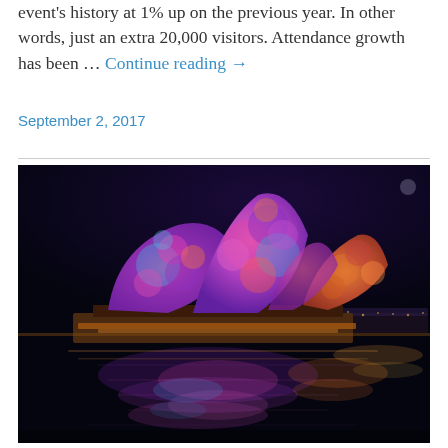event's history at 1% up on the previous year. In other words, just an extra 20,000 visitors. Attendance growth has been … Continue reading →
September 2, 2017
[Figure (photo): Night photograph of the Sydney Opera House illuminated with colorful light projections showing vivid floral/abstract patterns in pink, purple, blue and orange colors, reflected in the harbor water below, against a dark night sky.]